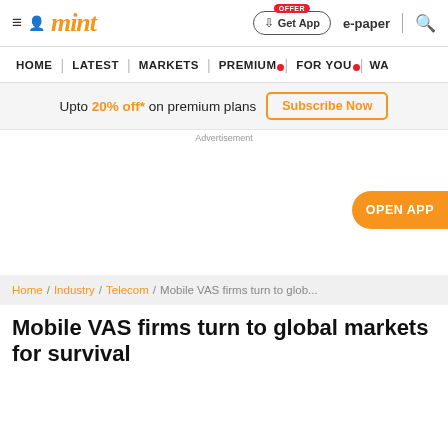mint
HOME | LATEST | MARKETS | PREMIUM | FOR YOU | WA
Upto 20% off* on premium plans  Subscribe Now
Advertisement
OPEN APP
Home / Industry / Telecom / Mobile VAS firms turn to glob...
Mobile VAS firms turn to global markets for survival